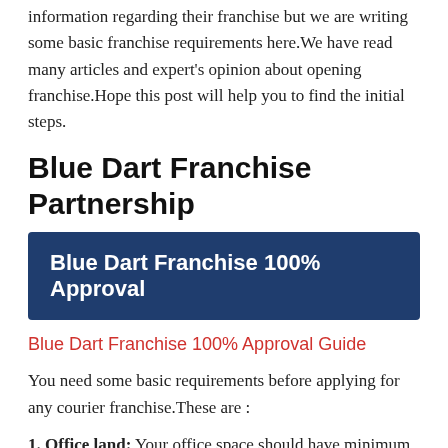information regarding their franchise but we are writing some basic franchise requirements here.We have read many articles and expert's opinion about opening franchise.Hope this post will help you to find the initial steps.
Blue Dart Franchise Partnership
[Figure (other): Dark blue banner with white bold text reading 'Blue Dart Franchise 100% Approval']
Blue Dart Franchise 100% Approval Guide
You need some basic requirements before applying for any courier franchise.These are :
1. Office land: Your office space should have minimum 200-300 sq .ft which will be used to